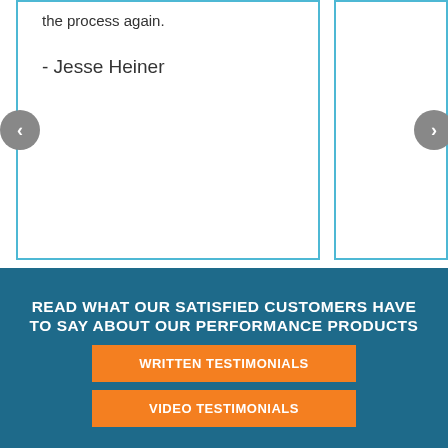the process again.
- Jesse Heiner
[Figure (illustration): Left navigation arrow (grey circle with left chevron)]
[Figure (illustration): Right navigation arrow (grey circle with right chevron)]
READ WHAT OUR SATISFIED CUSTOMERS HAVE TO SAY ABOUT OUR PERFORMANCE PRODUCTS
WRITTEN TESTIMONIALS
VIDEO TESTIMONIALS